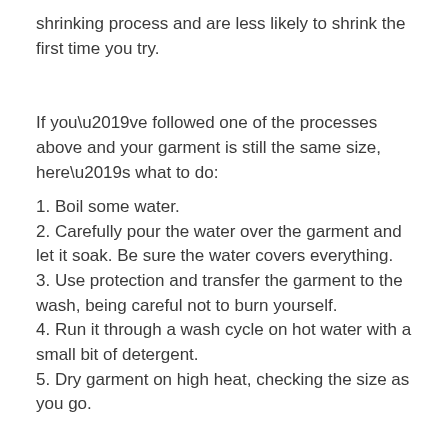shrinking process and are less likely to shrink the first time you try.
If you’ve followed one of the processes above and your garment is still the same size, here’s what to do:
1. Boil some water.
2. Carefully pour the water over the garment and let it soak. Be sure the water covers everything.
3. Use protection and transfer the garment to the wash, being careful not to burn yourself.
4. Run it through a wash cycle on hot water with a small bit of detergent.
5. Dry garment on high heat, checking the size as you go.
You may have to repeat this process a few times to get your desired size, but most materials will respond to this method even if it’s slow going.